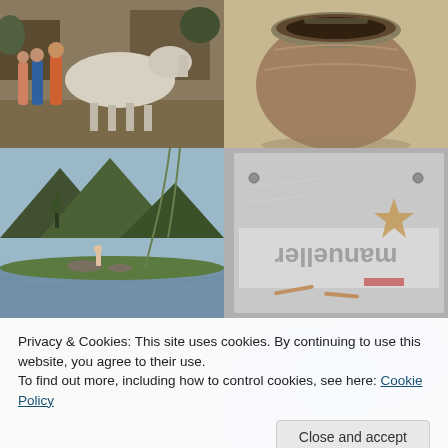[Figure (photo): People with a white horse at a stable, outdoors]
[Figure (photo): Close-up of a clay or ceramic pot/vessel]
[Figure (photo): Scenic mountain landscape with lake, trees, and a small figure standing on rocks]
[Figure (photo): Metal laser-cut or engraved piece with text 'manueller' visible upside-down]
Privacy & Cookies: This site uses cookies. By continuing to use this website, you agree to their use.
To find out more, including how to control cookies, see here: Cookie Policy
Close and accept
[Figure (photo): Garden or green foliage scene, partially visible at bottom]
[Figure (photo): Blue-toned image, partially visible at bottom]